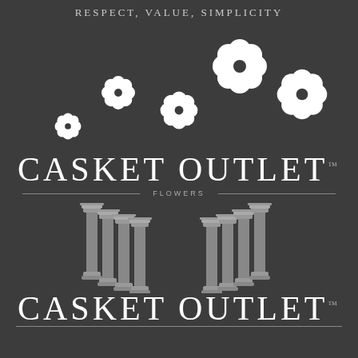RESPECT, VALUE, SIMPLICITY
[Figure (logo): Casket Outlet Flowers logo with decorative flower icons arranged in ascending arc pattern, large serif brand name CASKET OUTLET with TM mark, FLOWERS text with horizontal divider lines, decorative classical columns illustration below, and repeated CASKET OUTLET brand name with TM mark]
[Figure (screenshot): Blue chat button with speech bubble icon and CHAT WITH US text]